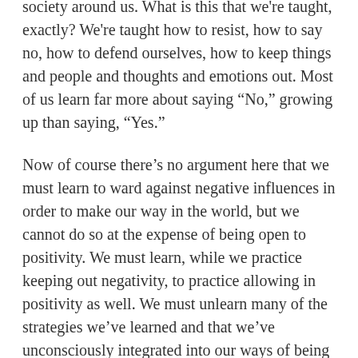society around us. What is this that we're taught, exactly? We're taught how to resist, how to say no, how to defend ourselves, how to keep things and people and thoughts and emotions out. Most of us learn far more about saying “No,” growing up than saying, “Yes.”
Now of course there’s no argument here that we must learn to ward against negative influences in order to make our way in the world, but we cannot do so at the expense of being open to positivity. We must learn, while we practice keeping out negativity, to practice allowing in positivity as well. We must unlearn many of the strategies we’ve learned and that we’ve unconsciously integrated into our ways of being that prevent good things from coming into our lives.